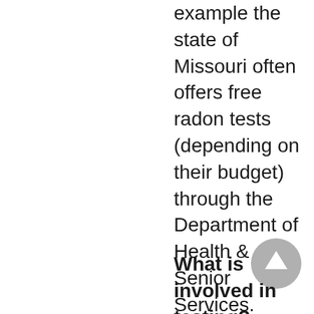example the state of Missouri often offers free radon tests (depending on their budget) through the Department of Health & Senior Services. When free tests are not available, tests are usually offered at a reduced rate. To see if tests are available, please visit:  https://health.mo.gov/living/environment/radon/index.php
What is involved in testing? Testing is actually pretty easy. It usually